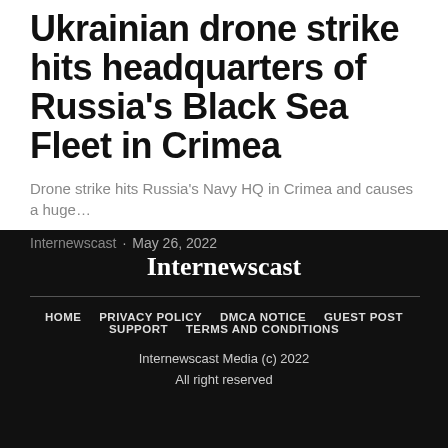Ukrainian drone strike hits headquarters of Russia's Black Sea Fleet in Crimea
Drone strike hits Russia's Navy HQ in Crimea and causes a huge…
Internewscast · May 26, 2022
Internewscast
HOME · PRIVACY POLICY · DMCA NOTICE · GUEST POST · SUPPORT · TERMS AND CONDITIONS
Internewscast Media (c) 2022
All right reserved